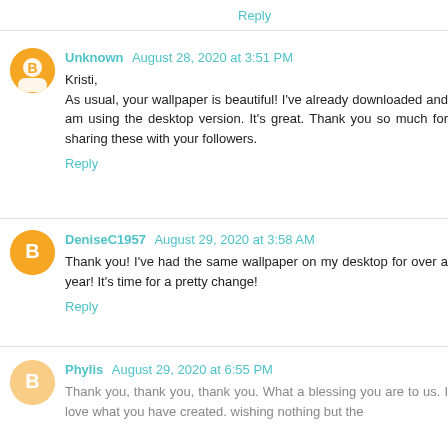Reply
Unknown  August 28, 2020 at 3:51 PM
Kristi,
As usual, your wallpaper is beautiful! I've already downloaded and am using the desktop version. It's great. Thank you so much for sharing these with your followers.
Reply
DeniseC1957  August 29, 2020 at 3:58 AM
Thank you! I've had the same wallpaper on my desktop for over a year! It's time for a pretty change!
Reply
Phylis  August 29, 2020 at 6:55 PM
Thank you, thank you, thank you. What a blessing you are to us. I love what you have created. wishing nothing but the